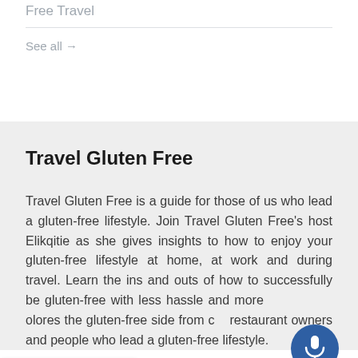Free Travel
See all →
Travel Gluten Free
Travel Gluten Free is a guide for those of us who lead a gluten-free lifestyle. Join Travel Gluten Free's host Elikqitie as she gives insights to how to enjoy your gluten-free lifestyle at home, at work and during travel. Learn the ins and outs of how to successfully be gluten-free with less hassle and more [joy. She explores the gluten-free side from chefs, restaurant owners and people who lead a gluten-free lifestyle.
[Figure (illustration): Blue circular microphone button icon]
[Figure (logo): Made with Podpage badge with blue P icon]